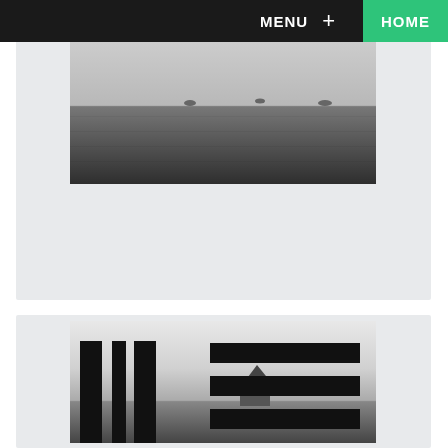MENU + HOME
[Figure (photo): Black and white photograph of a seascape with calm water, distant horizon, and overcast sky]
Lakker
Alex Smoke remixes
—More info
—Buy
[Figure (illustration): Album artwork featuring abstract black vertical bars and horizontal bars overlaid on a black and white landscape photograph]